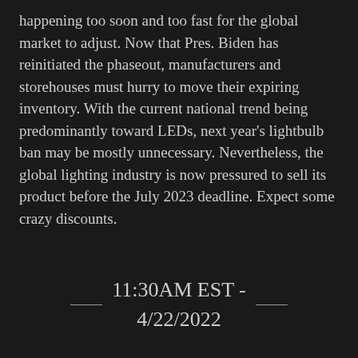happening too soon and too fast for the global market to adjust. Now that Pres. Biden has reinitiated the phaseout, manufacturers and storehouses must hurry to move their expiring inventory. With the current national trend being predominantly toward LEDs, next year's lightbulb ban may be mostly unnecessary. Nevertheless, the global lighting industry is now pressured to sell its product before the July 2023 deadline. Expect some crazy discounts.
11:30AM EST - 4/22/2022